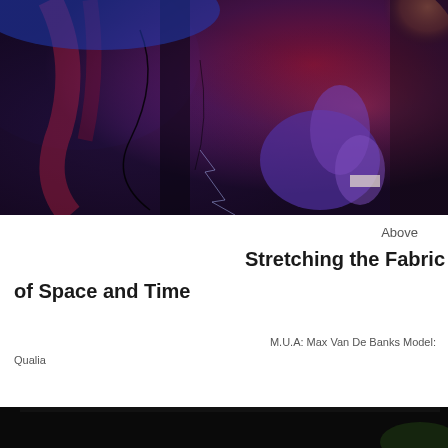[Figure (photo): Close-up photo of a person under dramatic red and purple lighting with reflective/distorted visual effects. Dark and artistic fashion/editorial style image.]
Above
Stretching the Fabric of Space and Time
M.U.A: Max Van De Banks Model: Qualia
[Figure (photo): Bottom portion of another photo, dark background with slight green tint visible at edge.]